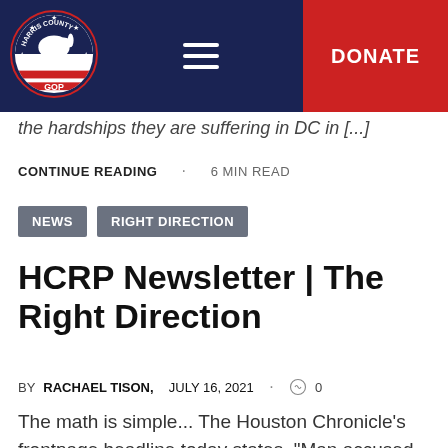[Figure (logo): Harris County GOP circular logo with elephant on red and white stripes, navy border with stars]
DONATE
the hardships they are suffering in DC in [...]
CONTINUE READING · 6 MIN READ
NEWS   RIGHT DIRECTION
HCRP Newsletter | The Right Direction
BY RACHAEL TISON,  JULY 16, 2021  ·  0
The math is simple... The Houston Chronicle's frontpage headline today states, "Man accused in